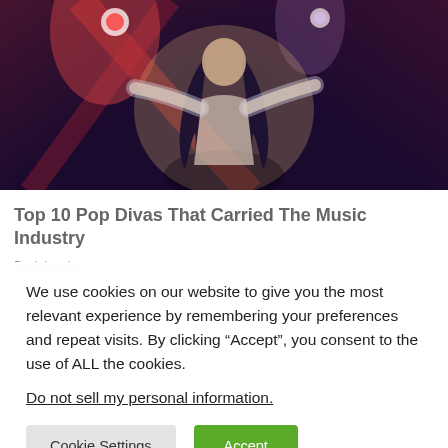[Figure (photo): A female performer with long dark hair wearing a sparkly outfit with arms outstretched on a stage with dramatic lighting including red X-shaped beams and spotlights]
Top 10 Pop Divas That Carried The Music Industry
Brainberries
We use cookies on our website to give you the most relevant experience by remembering your preferences and repeat visits. By clicking “Accept”, you consent to the use of ALL the cookies.
Do not sell my personal information.
Cookie Settings | Accept